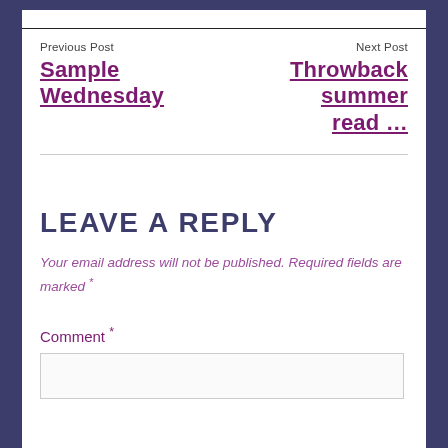Previous Post
Sample Wednesday
Next Post
Throwback summer read …
LEAVE A REPLY
Your email address will not be published. Required fields are marked *
Comment *